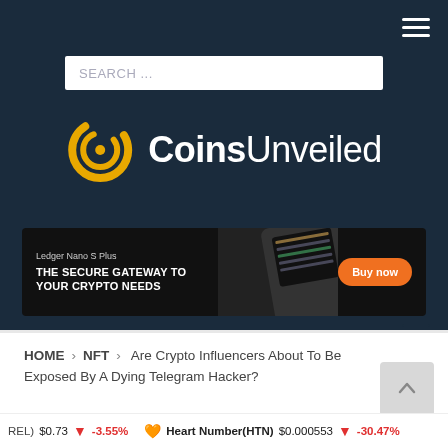[Figure (screenshot): CoinsUnveiled website header with dark navy background, search bar, logo with yellow circular icon and white text 'CoinsUnveiled', Ledger Nano S Plus advertisement banner, and hamburger menu icons]
HOME > NFT > Are Crypto Influencers About To Be Exposed By A Dying Telegram Hacker?
(REL) $0.73 -3.55% Heart Number(HTN) $0.000553 -30.47%